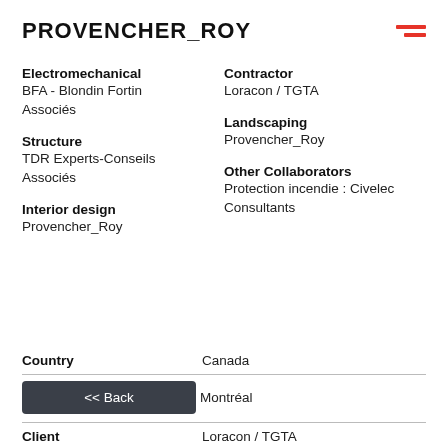PROVENCHER_ROY
Electromechanical
BFA - Blondin Fortin Associés
Contractor
Loracon / TGTA
Structure
TDR Experts-Conseils Associés
Landscaping
Provencher_Roy
Interior design
Provencher_Roy
Other Collaborators
Protection incendie : Civelec Consultants
Country
Canada
Montréal
Client
Loracon / TGTA